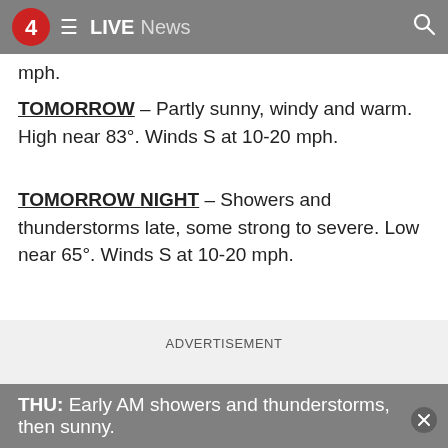4 LIVE News
mph.
TOMORROW – Partly sunny, windy and warm. High near 83°. Winds S at 10-20 mph.
TOMORROW NIGHT – Showers and thunderstorms late, some strong to severe. Low near 65°. Winds S at 10-20 mph.
ADVERTISEMENT
EXTENDED
THU: Early AM showers and thunderstorms, then sunny.